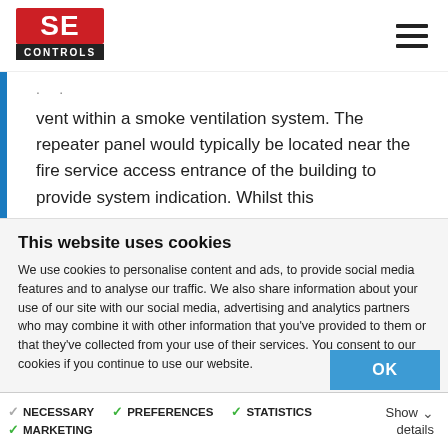[Figure (logo): SE Controls logo — red square with white SE text, black bar below with white CONTROLS text]
vent within a smoke ventilation system. The repeater panel would typically be located near the fire service access entrance of the building to provide system indication. Whilst this
This website uses cookies
We use cookies to personalise content and ads, to provide social media features and to analyse our traffic. We also share information about your use of our site with our social media, advertising and analytics partners who may combine it with other information that you've provided to them or that they've collected from your use of their services. You consent to our cookies if you continue to use our website.